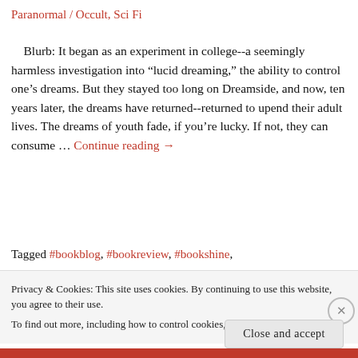Paranormal / Occult, Sci Fi
Blurb: It began as an experiment in college--a seemingly harmless investigation into "lucid dreaming," the ability to control one's dreams. But they stayed too long on Dreamside, and now, ten years later, the dreams have returned--returned to upend their adult lives. The dreams of youth fade, if you're lucky. If not, they can consume … Continue reading →
Tagged #bookblog, #bookreview, #bookshine,
Privacy & Cookies: This site uses cookies. By continuing to use this website, you agree to their use.
To find out more, including how to control cookies, see here: Cookie Policy